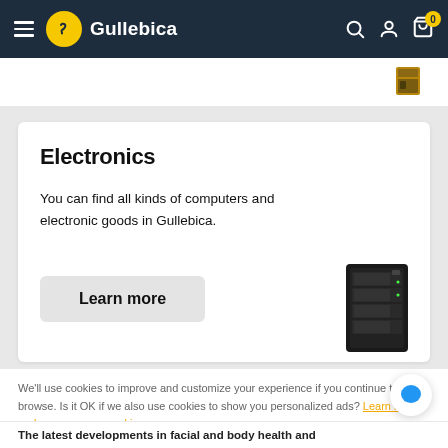Gullebica
Electronics
You can find all kinds of computers and electronic goods in Gullebica.
Learn more
[Figure (photo): Black NAS device product image]
We'll use cookies to improve and customize your experience if you continue to browse. Is it OK if we also use cookies to show you personalized ads? Learn more and manage your cookies
Yes, Accept Cookies
The latest developments in facial and body health and